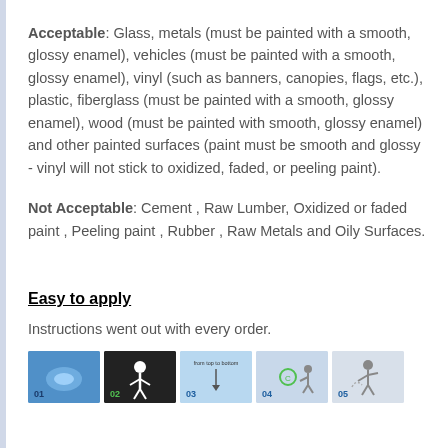Acceptable: Glass, metals (must be painted with a smooth, glossy enamel), vehicles (must be painted with a smooth, glossy enamel), vinyl (such as banners, canopies, flags, etc.), plastic, fiberglass (must be painted with a smooth, glossy enamel), wood (must be painted with smooth, glossy enamel) and other painted surfaces (paint must be smooth and glossy - vinyl will not stick to oxidized, faded, or peeling paint).
Not Acceptable: Cement , Raw Lumber, Oxidized or faded paint , Peeling paint , Rubber , Raw Metals and Oily Surfaces.
Easy to apply
Instructions went out with every order.
[Figure (photo): Five sequential instruction images showing how to apply vinyl decal, numbered 01-05]